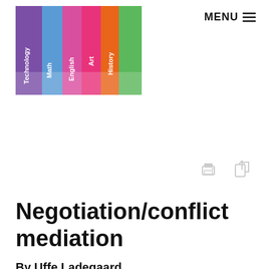MENU ≡
[Figure (photo): Colorful school textbooks standing upright showing spines labeled Technology, Math, English, Art, History]
[Figure (other): Print icon and share/export icon in light gray]
Negotiation/conflict mediation
By Uffe Ladegaard